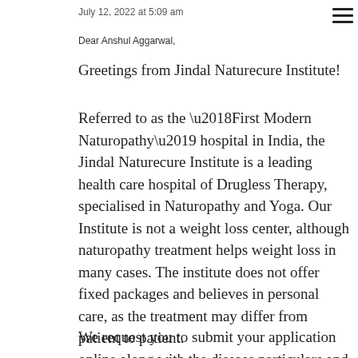July 12, 2022 at 5:09 am
Dear Anshul Aggarwal,
Greetings from Jindal Naturecure Institute!
Referred to as the ‘First Modern Naturopathy’ hospital in India, the Jindal Naturecure Institute is a leading health care hospital of Drugless Therapy, specialised in Naturopathy and Yoga. Our Institute is not a weight loss center, although naturopathy treatment helps weight loss in many cases. The institute does not offer fixed packages and believes in personal care, as the treatment may differ from patient to patient.
We request you to submit your application online along with the disease particulars and